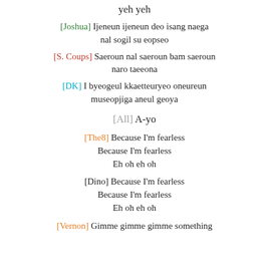yeh yeh
[Joshua] Ijeneun ijeneun deo isang naega nal sogil su eopseo
[S. Coups] Saeroun nal saeroun bam saeroun naro taeeona
[DK] I byeogeul kkaetteuryeo oneureun museopjiga aneul geoya
[All] A-yo
[The8] Because I'm fearless
Because I'm fearless
Eh oh eh oh
[Dino] Because I'm fearless
Because I'm fearless
Eh oh eh oh
[Vernon] Gimme gimme gimme something